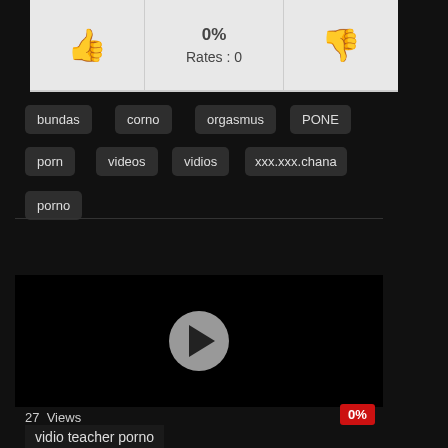[Figure (other): Rating panel with thumbs up (green), 0% Rates: 0 center, thumbs down (red)]
bundas
corno
orgasmus
PONE
porn
videos
vidios
xxx.xxx.chana
porno
VIDEO SUGGESTIONS
[Figure (other): Video thumbnail placeholder with play button]
27  Views
0%
vidio teacher porno